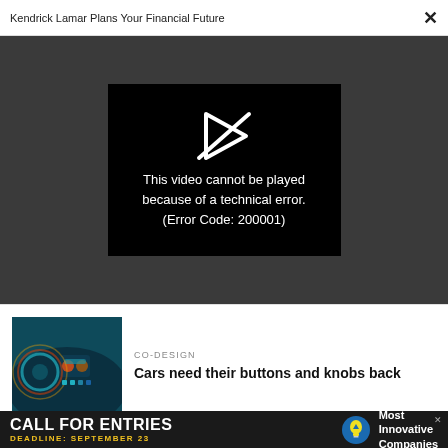Kendrick Lamar Plans Your Financial Future
[Figure (screenshot): Video player showing error message: 'This video cannot be played because of a technical error. (Error Code: 200001)' with a broken play button icon on black background, embedded in dark gray video area.]
[Figure (photo): Car dashboard interior with colorful heat-map style image showing buttons, knobs and display panel.]
CO-DESIGN
Cars need their buttons and knobs back
[Figure (infographic): Advertisement banner: 'CALL FOR ENTRIES DEADLINE: SEPTEMBER 23' with lightbulb icon and 'Most Innovative Companies' text on dark background.]